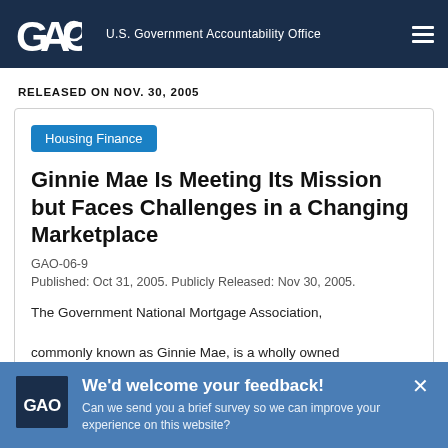GAO U.S. Government Accountability Office
RELEASED ON NOV. 30, 2005
Housing Finance
Ginnie Mae Is Meeting Its Mission but Faces Challenges in a Changing Marketplace
GAO-06-9
Published: Oct 31, 2005. Publicly Released: Nov 30, 2005.
The Government National Mortgage Association, commonly known as Ginnie Mae, is a wholly owned
We'd welcome your feedback! Can we send you a brief survey so we can improve your experience on this website?